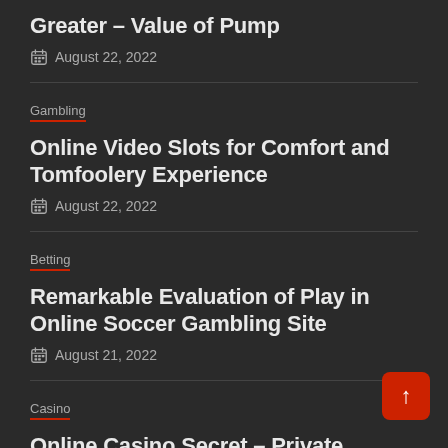Greater – Value of Pump
August 22, 2022
Gambling
Online Video Slots for Comfort and Tomfoolery Experience
August 22, 2022
Betting
Remarkable Evaluation of Play in Online Soccer Gambling Site
August 21, 2022
Casino
Online Casino Secret – Private Numbers At last Uncovered